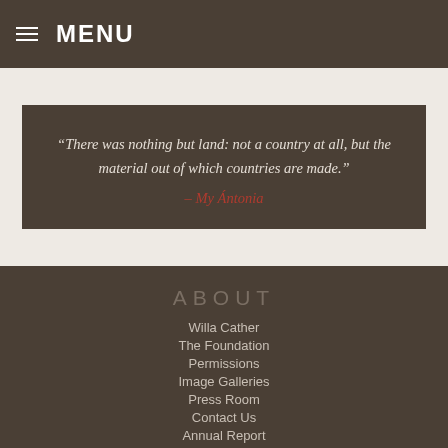≡ MENU
“There was nothing but land: not a country at all, but the material out of which countries are made.” – My Ántonia
ABOUT
Willa Cather
The Foundation
Permissions
Image Galleries
Press Room
Contact Us
Annual Report
Newsletters
EVENTS